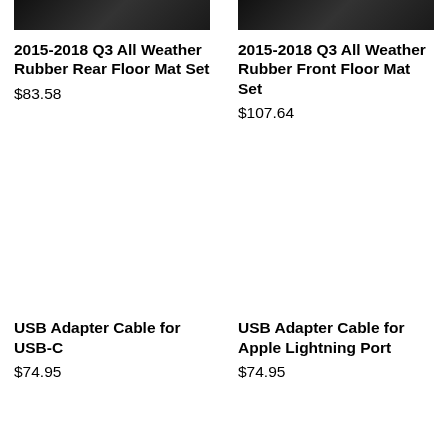[Figure (photo): Partial product photo of floor mat (dark/black, top cropped)]
[Figure (photo): Partial product photo of floor mat (dark/black, top cropped)]
2015-2018 Q3 All Weather Rubber Rear Floor Mat Set
$83.58
2015-2018 Q3 All Weather Rubber Front Floor Mat Set
$107.64
USB Adapter Cable for USB-C
$74.95
USB Adapter Cable for Apple Lightning Port
$74.95